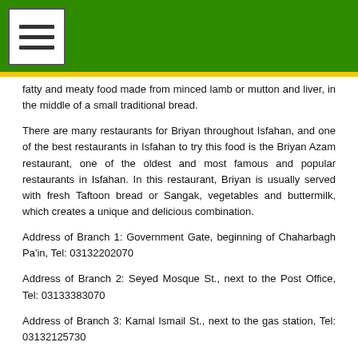fatty and meaty food made from minced lamb or mutton and liver, in the middle of a small traditional bread.
There are many restaurants for Briyan throughout Isfahan, and one of the best restaurants in Isfahan to try this food is the Briyan Azam restaurant, one of the oldest and most famous and popular restaurants in Isfahan. In this restaurant, Briyan is usually served with fresh Taftoon bread or Sangak, vegetables and buttermilk, which creates a unique and delicious combination.
Address of Branch 1: Government Gate, beginning of Chaharbagh Pa'in, Tel: 03132202070
Address of Branch 2: Seyed Mosque St., next to the Post Office, Tel: 03133383070
Address of Branch 3: Kamal Ismail St., next to the gas station, Tel: 03132125730
Address of Branch 4: Chaharbagh Bala St., Nazar...